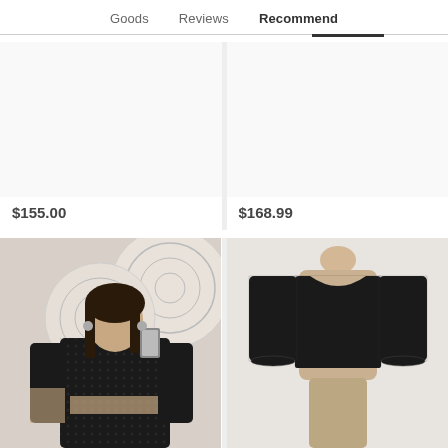Goods   Reviews   Recommend
$155.00
$168.99
[Figure (photo): Woman wearing black lace long-sleeve crop top, taking a mirror selfie against a white decorative wall]
[Figure (photo): Black lace long-sleeve top displayed on a dress mannequin]